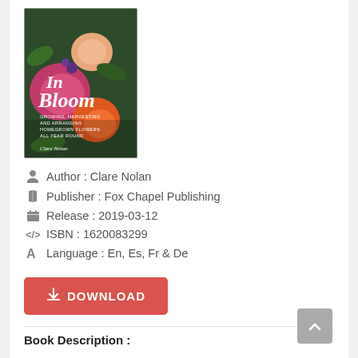[Figure (photo): Book cover of 'In Bloom: Growing, Harvesting and Arranging Home-Grown Flowers All Year Round' by Clare Nolan, featuring colorful flowers on a dark background]
Author : Clare Nolan
Publisher : Fox Chapel Publishing
Release : 2019-03-12
ISBN : 1620083299
Language : En, Es, Fr & De
DOWNLOAD
Book Description :